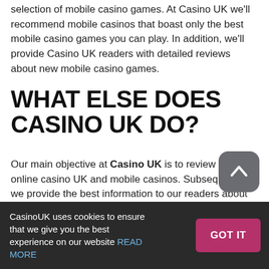selection of mobile casino games. At Casino UK we'll recommend mobile casinos that boast only the best mobile casino games you can play. In addition, we'll provide Casino UK readers with detailed reviews about new mobile casino games.
WHAT ELSE DOES CASINO UK DO?
Our main objective at Casino UK is to review each online casino UK and mobile casinos. Subsequently, we provide the best information to our readers about where to gamble online. We want to make sure readers are able to play at the best online casinos in the UK. Ultimately, Casino UK serves as a superior
CasinoUK uses cookies to ensure that we give you the best experience on our website READ MORE